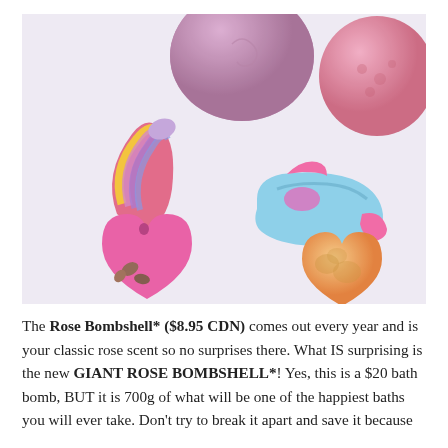[Figure (photo): Photograph of several colorful bath bombs on a white surface: a rainbow/purple cone-shaped bomb, a pink heart-shaped bomb with dried rose petals, two large purple/pink spherical bombs, a teal/pink slipper-shaped bomb, and an orange/gold heart-shaped bomb.]
The Rose Bombshell* ($8.95 CDN) comes out every year and is your classic rose scent so no surprises there. What IS surprising is the new GIANT ROSE BOMBSHELL*! Yes, this is a $20 bath bomb, BUT it is 700g of what will be one of the happiest baths you will ever take. Don't try to break it apart and save it because